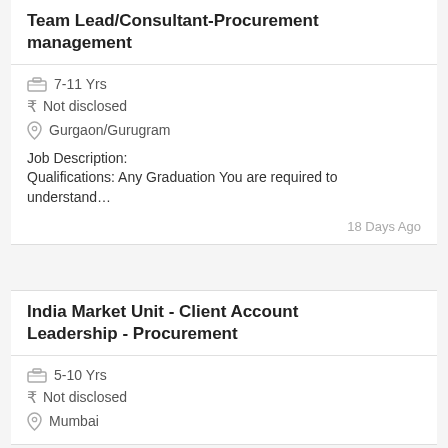Team Lead/Consultant-Procurement management
7-11 Yrs
Not disclosed
Gurgaon/Gurugram
Job Description:
Qualifications: Any Graduation You are required to understand…
18 Days Ago
India Market Unit - Client Account Leadership - Procurement
5-10 Yrs
Not disclosed
Mumbai